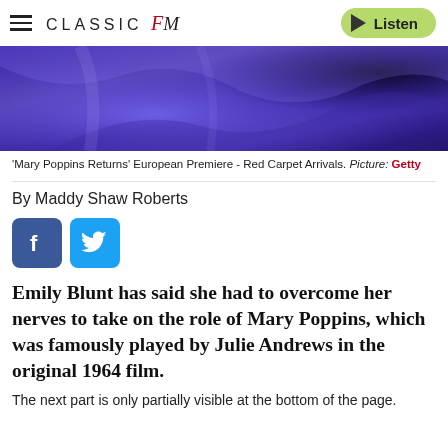CLASSIC FM  Listen
[Figure (photo): Close-up photo of a person in a bright purple/blue satin garment, partial view of torso and shoulders.]
'Mary Poppins Returns' European Premiere - Red Carpet Arrivals. Picture: Getty
By Maddy Shaw Roberts
[Figure (infographic): Facebook and Twitter social sharing buttons]
Emily Blunt has said she had to overcome her nerves to take on the role of Mary Poppins, which was famously played by Julie Andrews in the original 1964 film.
The next part is only partially visible at the bottom of the page.